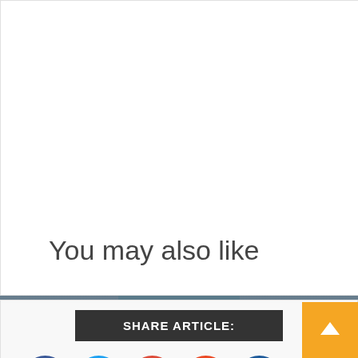You may also like
SHARE ARTICLE:
[Figure (infographic): Social share buttons row: Facebook (blue circle), Twitter (light blue circle), Google+ (red circle), StumbleUpon (orange-red circle), Digg (dark blue circle), Pinterest (dark red circle)]
[Figure (illustration): Orange back-to-top arrow button in bottom-right corner]